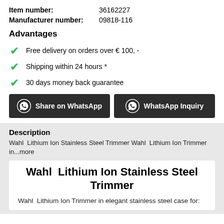| Item number: | 36162227 |
| Manufacturer number: | 09818-116 |
Advantages
Free delivery on orders over € 100, -
Shipping within 24 hours *
30 days money back guarantee
[Figure (other): Two WhatsApp buttons: 'Share on WhatsApp' and 'WhatsApp Inquiry' with WhatsApp icons, dark background]
Description
Wahl  Lithium Ion Stainless Steel Trimmer Wahl  Lithium Ion Trimmer in...more
Wahl  Lithium Ion Stainless Steel Trimmer
Wahl  Lithium Ion Trimmer in elegant stainless steel case for: